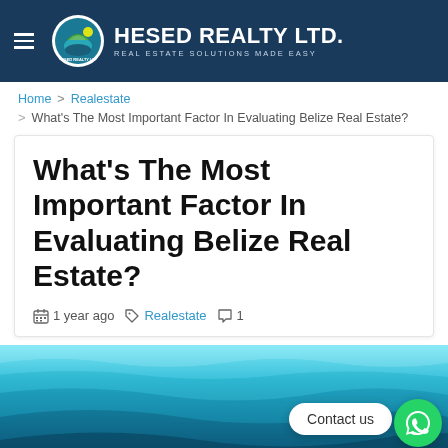HESED REALTY LTD. – REAL ESTATE SOLUTIONS MADE EASY
Home > Realestate > What's The Most Important Factor In Evaluating Belize Real Estate?
What's The Most Important Factor In Evaluating Belize Real Estate?
1 year ago   Realestate   1
[Figure (photo): Aerial or underwater view of clear blue tropical water in Belize, teal and deep blue tones]